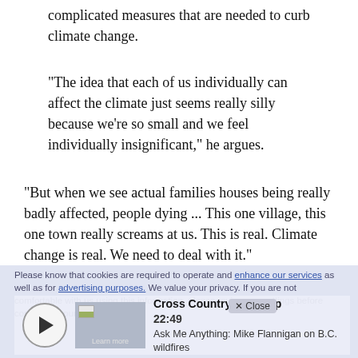complicated measures that are needed to curb climate change.
"The idea that each of us individually can affect the climate just seems really silly because we're so small and we feel individually insignificant," he argues.
"But when we see actual families houses being really badly affected, people dying ... This one village, this one town really screams at us. This is real. Climate change is real. We need to deal with it."
Please know that cookies are required to operate and enhance our services as well as for advertising purposes. We value your privacy. If you are not comfortable with us using this information, please review our settings before continuing your visit.
[Figure (screenshot): Audio player widget showing Cross Country Checkup episode, 22:49 duration, titled 'Ask Me Anything: Mike Flannigan on B.C. wildfires'. Has a play button circle on the left, a thumbnail image in the center-left, and episode info on the right. A 'Close' button overlay is visible.]